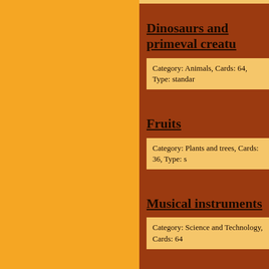Dinosaurs and primeval creatures
Category: Animals, Cards: 64, Type: standard
Fruits
Category: Plants and trees, Cards: 36, Type: s
Musical instruments
Category: Science and Technology, Cards: 64
Wild birds of Europe
Category: Animals, Cards: 64, Type: standard
Meadow flowers of central Europe
Category: Plants and trees, Cards: ...